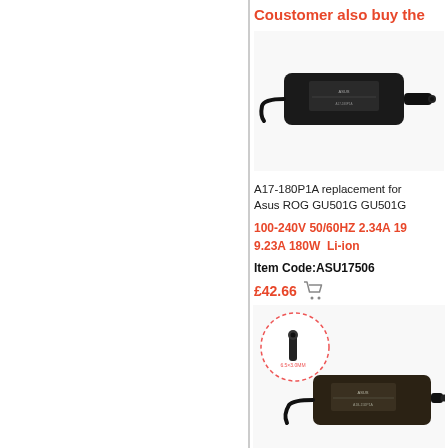Coustomer also buy the
[Figure (photo): Photo of a black laptop power adapter (A17-180P1A) with cable and connector tip on white background]
A17-180P1A replacement for Asus ROG GU501G GU501G
100-240V 50/60HZ 2.34A 19 9.23A 180W  Li-ion
Item Code:ASU17506
£42.66
[Figure (photo): Photo of a black laptop power adapter (A18-150P1A) with cable, connector tip inset showing 6.5x3.0MM plug size, on white background]
A18-150P1A replacement for ASUS G501JW UX501J VX6